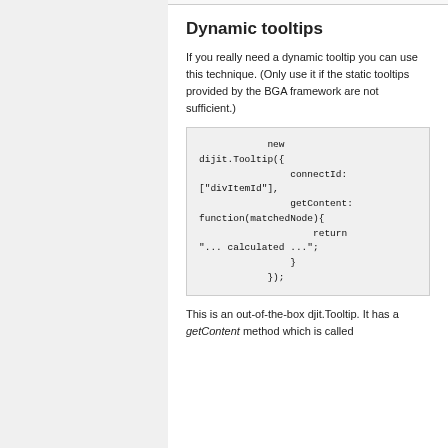Dynamic tooltips
If you really need a dynamic tooltip you can use this technique. (Only use it if the static tooltips provided by the BGA framework are not sufficient.)
[Figure (screenshot): Code block showing: new dijit.Tooltip({ connectId: ["divItemId"], getContent: function(matchedNode){ return "... calculated ..."; } });]
This is an out-of-the-box djit.Tooltip. It has a getContent method which is called